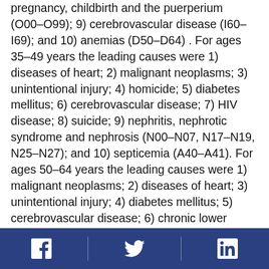pregnancy, childbirth and the puerperium (O00–O99); 9) cerebrovascular disease (I60–I69); and 10) anemias (D50–D64) . For ages 35–49 years the leading causes were 1) diseases of heart; 2) malignant neoplasms; 3) unintentional injury; 4) homicide; 5) diabetes mellitus; 6) cerebrovascular disease; 7) HIV disease; 8) suicide; 9) nephritis, nephrotic syndrome and nephrosis (N00–N07, N17–N19, N25–N27); and 10) septicemia (A40–A41). For ages 50–64 years the leading causes were 1) malignant neoplasms; 2) diseases of heart; 3) unintentional injury; 4) diabetes mellitus; 5) cerebrovascular disease; 6) chronic lower respiratory disease (J40–J47); 7) nephritis, nephrotic syndrome and nephrosis; 8) chronic liver disease and cirrhosis (K70, K73–K74); 9) septicemia; and 10) HIV disease. For ages ≥65 years the leading causes were 1) diseases of heart; 2) malignant neoplasms; 3)
Facebook | Twitter | LinkedIn